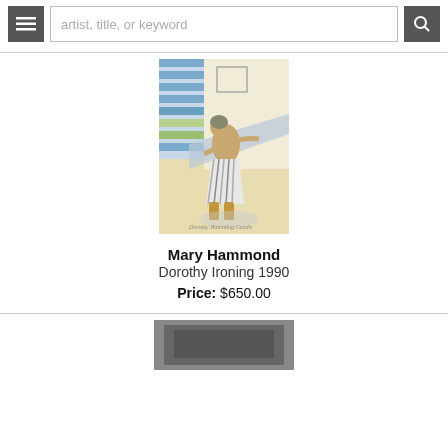artist, title, or keyword
[Figure (photo): Watercolor and pencil sketch of a woman ironing, viewed from behind, with blue striped skirt and yellow boots, signed 'Dorothy Hamming Candle']
Mary Hammond
Dorothy Ironing 1990
Price: $650.00
[Figure (photo): Partial view of a second artwork at the bottom of the page, showing a dark toned image]